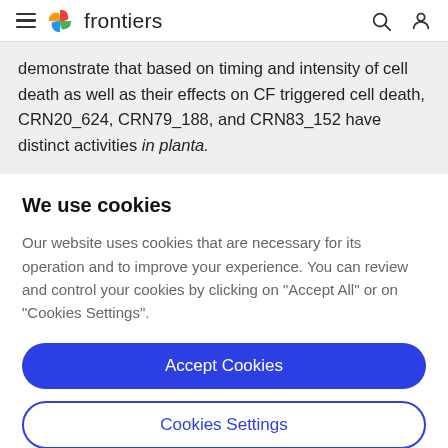frontiers
demonstrate that based on timing and intensity of cell death as well as their effects on CF triggered cell death, CRN20_624, CRN79_188, and CRN83_152 have distinct activities in planta.
We use cookies
Our website uses cookies that are necessary for its operation and to improve your experience. You can review and control your cookies by clicking on "Accept All" or on "Cookies Settings".
Accept Cookies
Cookies Settings